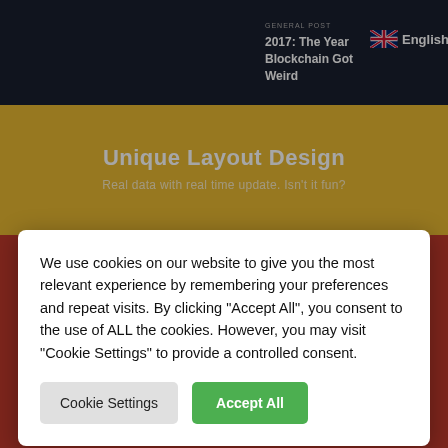[Figure (screenshot): Website screenshot showing a blog with dark header, yellow 'Unique Layout Design' section, and bottom content area with orange and dark navy backgrounds]
We use cookies on our website to give you the most relevant experience by remembering your preferences and repeat visits. By clicking “Accept All”, you consent to the use of ALL the cookies. However, you may visit “Cookie Settings” to provide a controlled consent.
Cookie Settings
Accept All